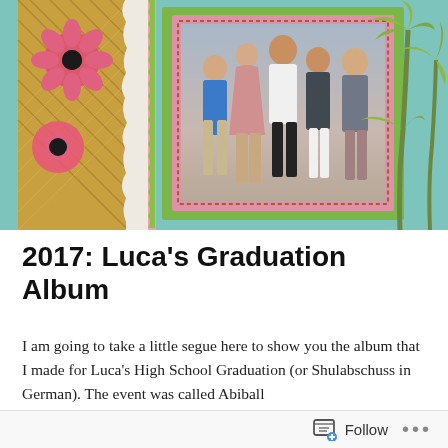[Figure (photo): Scrapbook-style photo of a family group (5-6 people) at a graduation event, set on a decorative background with pink flowers, wicker texture, torn paper edge, and palm tree illustrations. A framed photo with green and pink borders contains the group portrait.]
2017: Luca’s Graduation Album
I am going to take a little segue here to show you the album that I made for Luca’s High School Graduation (or Shulabschuss in German).  The event was called Abiball and is a little different from American graduation, the
Follow •••